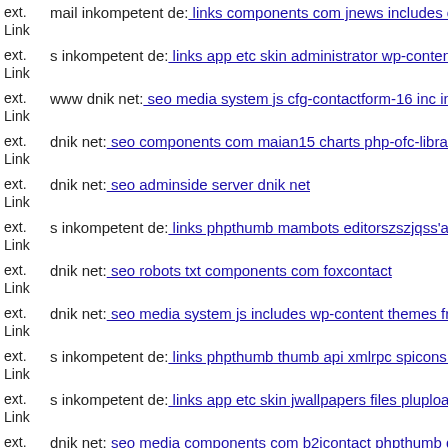ext. Link mail inkompetent de: links components com jnews includes op
ext. Link s inkompetent de: links app etc skin administrator wp-content t
ext. Link www dnik net: seo media system js cfg-contactform-16 inc ind
ext. Link dnik net: seo components com maian15 charts php-ofc-library
ext. Link dnik net: seo adminside server dnik net
ext. Link s inkompetent de: links phpthumb mambots editorszszjqss'a
ext. Link dnik net: seo robots txt components com foxcontact
ext. Link dnik net: seo media system js includes wp-content themes fresh
ext. Link s inkompetent de: links phpthumb thumb api xmlrpc spicons f s
ext. Link s inkompetent de: links app etc skin jwallpapers files plupload
ext. Link dnik net: seo media components com b2jcontact phpthumb dni
ext. Link